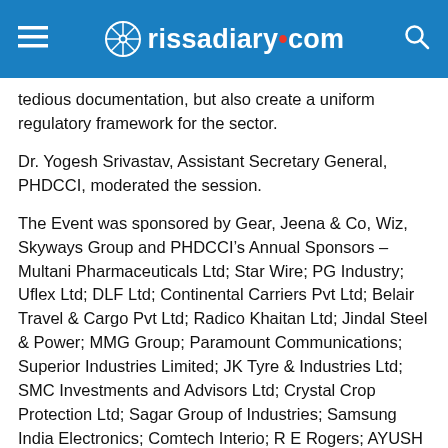rissadiary.com
tedious documentation, but also create a uniform regulatory framework for the sector.
Dr. Yogesh Srivastav, Assistant Secretary General, PHDCCI, moderated the session.
The Event was sponsored by Gear, Jeena & Co, Wiz, Skyways Group and PHDCCI’s Annual Sponsors – Multani Pharmaceuticals Ltd; Star Wire; PG Industry; Uflex Ltd; DLF Ltd; Continental Carriers Pvt Ltd; Belair Travel & Cargo Pvt Ltd; Radico Khaitan Ltd; Jindal Steel & Power; MMG Group; Paramount Communications; Superior Industries Limited; JK Tyre & Industries Ltd; SMC Investments and Advisors Ltd; Crystal Crop Protection Ltd; Sagar Group of Industries; Samsung India Electronics; Comtech Interio; R E Rogers; AYUSH Herbs Private Ltd; Apeejay Stya Group; DCM Shriram; EaseMyTrip; Blossom Kochhar Beauty Products Pvt Ltd; Oswal Greentech; Trident Group; MV Cotspin Ltd; Synergy Environics Ltd; Ajit Industries Pvt Ltd; P S BEDI & Co.; Indian Farmer